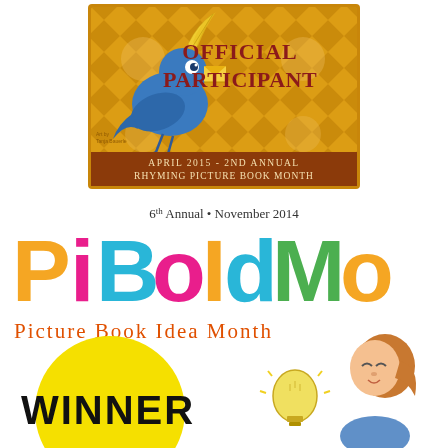[Figure (illustration): Official Participant badge for April 2015 2nd Annual Rhyming Picture Book Month. Features a blue bird holding a golden feather quill and an envelope against a golden/brown geometric background. Text reads 'OFFICIAL PARTICIPANT' in dark red and 'April 2015 - 2nd Annual Rhyming Picture Book Month' at the bottom. Art by Tanja Bauerle.]
[Figure (logo): PiBoIdMo logo - 6th Annual, November 2014. Large colorful letters spelling PiBoIdMo in orange, pink, blue/teal, and green. Below reads 'Picture Book Idea Month' in orange handwritten style. Bottom portion shows a yellow circle with WINNER text in black, and a cartoon girl with a lightbulb.]